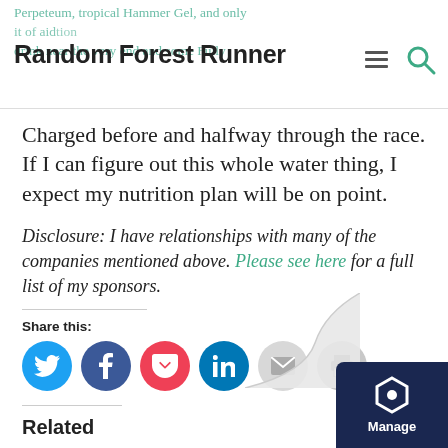Random Forest Runner
Charged before and halfway through the race. If I can figure out this whole water thing, I expect my nutrition plan will be on point.
Disclosure: I have relationships with many of the companies mentioned above. Please see here for a full list of my sponsors.
Share this:
[Figure (infographic): Row of social share buttons: Twitter (blue), Facebook (dark blue), Pocket (red), LinkedIn (blue), Email (grey), Print (grey)]
Related
[Figure (photo): Two related article thumbnail images side by side: a sky/desert landscape on the left, a group of people in colorful winter gear on the right]
[Figure (logo): Manage cookie preferences badge in bottom right corner with a hexagonal icon and the word Manage]